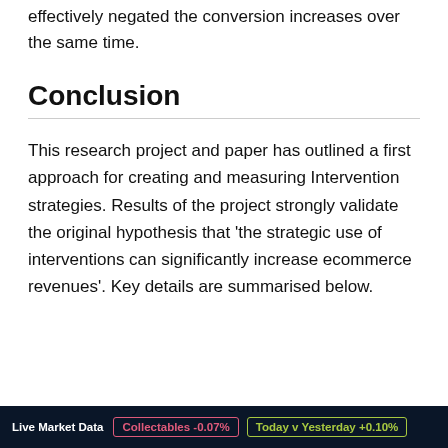effectively negated the conversion increases over the same time.
Conclusion
This research project and paper has outlined a first approach for creating and measuring Intervention strategies. Results of the project strongly validate the original hypothesis that 'the strategic use of interventions can significantly increase ecommerce revenues'. Key details are summarised below.
Live Market Data   Collectables -0.07%   Today v Yesterday +0.10%